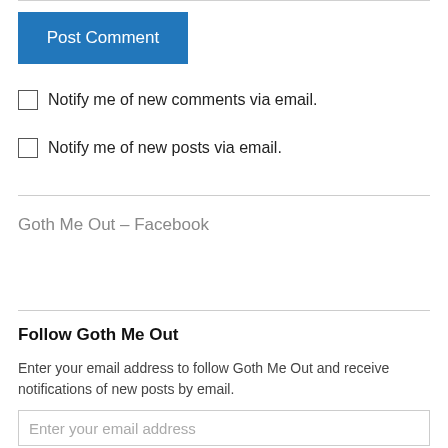Post Comment
Notify me of new comments via email.
Notify me of new posts via email.
Goth Me Out – Facebook
Follow Goth Me Out
Enter your email address to follow Goth Me Out and receive notifications of new posts by email.
Enter your email address